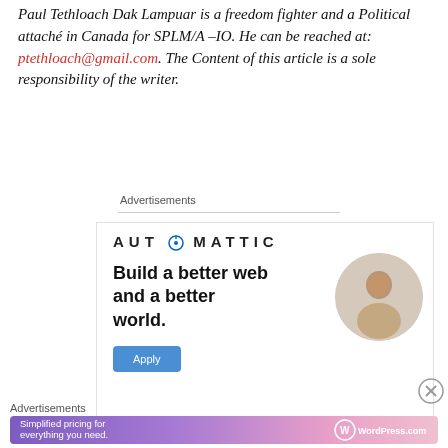Paul Tethloach Dak Lampuar is a freedom fighter and a Political attaché in Canada for SPLM/A –IO. He can be reached at: ptethloach@gmail.com. The Content of this article is a sole responsibility of the writer.
Advertisements
[Figure (other): Automattic advertisement banner: AUTOMATTIC logo at top, headline 'Build a better web and a better world.' with an Apply button and circular photo of a person]
Advertisements
[Figure (other): WordPress.com banner ad: 'Simplified pricing for everything you need.' with WordPress.com logo on gradient purple-pink background]